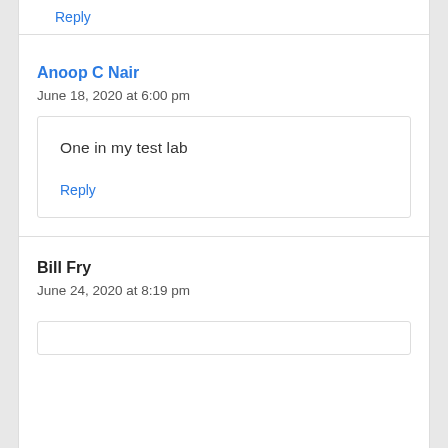Reply
Anoop C Nair
June 18, 2020 at 6:00 pm
One in my test lab
Reply
Bill Fry
June 24, 2020 at 8:19 pm